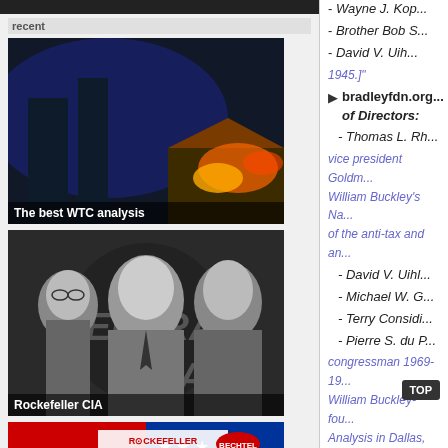[Figure (screenshot): Left column showing a website sidebar with 'recent' label and three video thumbnails: 'The best WTC analysis', 'Rockefeller CIA', and 'How the system is rigged']
- Wayne J. Kop...
- Brother Bob S...
- David V. Uih... 1945.]"
bradleyfdn.org... of Directors:
- Thomas L. Rh...
vice president Goldm... William Buckley's Na... of the anti-tax and an...
- David V. Uihl...
- Michael W. G...
- Terry Considi...
- Pierre S. du P...
congressman 1969-19... William Buckley-fou... Analysis in Dallas, Te...
What Bradley funds...
Annual repo... $150,000 ... A... Capital Resear... ... $25,000...